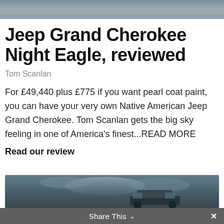[Figure (photo): Top portion of a sky/landscape photo, partially cropped]
Jeep Grand Cherokee Night Eagle, reviewed
Tom Scanlan
For £49,440 plus £775 if you want pearl coat paint, you can have your very own Native American Jeep Grand Cherokee. Tom Scanlan gets the big sky feeling in one of America's finest...READ MORE
Read our review
[Figure (photo): Bottom portion showing Jeep Grand Cherokee vehicle against a dramatic sky background]
Share This ∨  ✕